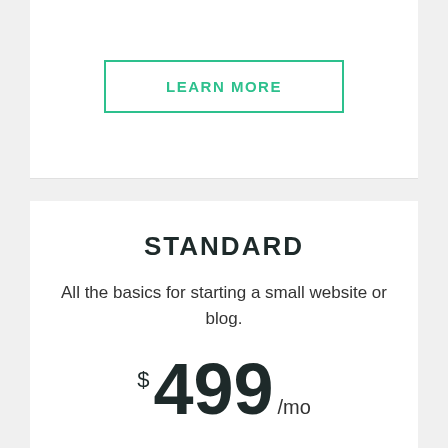LEARN MORE
STANDARD
All the basics for starting a small website or blog.
$499/mo
20 Key Words Optimized
5 Top 10 Ranking Guaranteed